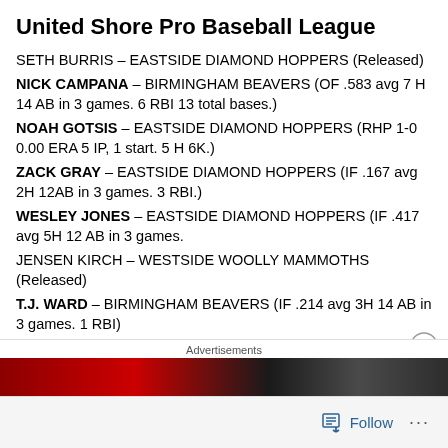United Shore Pro Baseball League
SETH BURRIS – EASTSIDE DIAMOND HOPPERS (Released)
NICK CAMPANA – BIRMINGHAM BEAVERS (OF .583 avg 7 H 14 AB in 3 games. 6 RBI 13 total bases.)
NOAH GOTSIS – EASTSIDE DIAMOND HOPPERS (RHP 1-0 0.00 ERA 5 IP, 1 start. 5 H 6K.)
ZACK GRAY – EASTSIDE DIAMOND HOPPERS (IF .167 avg 2H 12AB in 3 games. 3 RBI.)
WESLEY JONES – EASTSIDE DIAMOND HOPPERS (IF .417 avg 5H 12 AB in 3 games.
JENSEN KIRCH – WESTSIDE WOOLLY MAMMOTHS (Released)
T.J. WARD – BIRMINGHAM BEAVERS (IF .214 avg 3H 14 AB in 3 games. 1 RBI)
Advertisements
Follow ...